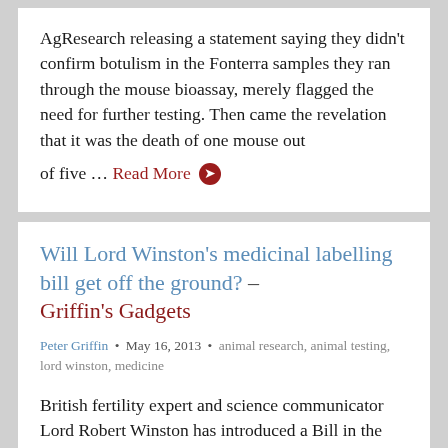AgResearch releasing a statement saying they didn't confirm botulism in the Fonterra samples they ran through the mouse bioassay, merely flagged the need for further testing. Then came the revelation that it was the death of one mouse out of five… Read More ➔
Will Lord Winston's medicinal labelling bill get off the ground? – Griffin's Gadgets
Peter Griffin • May 16, 2013 • animal research, animal testing, lord winston, medicine
British fertility expert and science communicator Lord Robert Winston has introduced a Bill in the House of Lords that would require all medicines